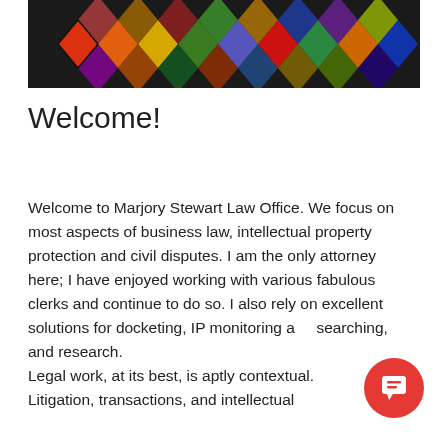[Figure (photo): Colorful diamond/argyle patterned textile or knitted fabric with red, orange, yellow, green, blue, and purple diamond shapes on a dark background]
Welcome!
Welcome to Marjory Stewart Law Office. We focus on most aspects of business law, intellectual property protection and civil disputes. I am the only attorney here; I have enjoyed working with various fabulous clerks and continue to do so. I also rely on excellent solutions for docketing, IP monitoring and searching, and research.
Legal work, at its best, is aptly contextual.
Litigation, transactions, and intellectual